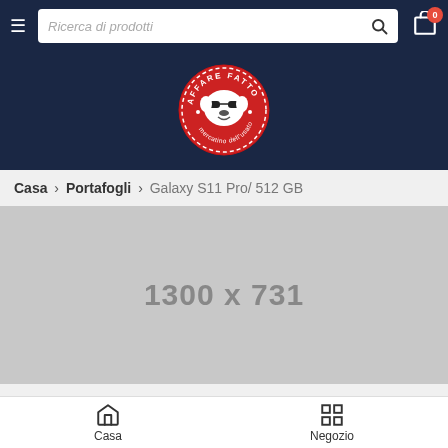Ricerca di prodotti [search bar] | cart icon with badge 0
[Figure (logo): Affare Fatto logo - red circular badge with bulldog wearing sunglasses, text 'AFFARE FATTO mercatino dell'usato']
Casa › Portafogli › Galaxy S11 Pro/ 512 GB
[Figure (photo): Product image placeholder showing dimensions 1300 x 731]
Casa | Negozio